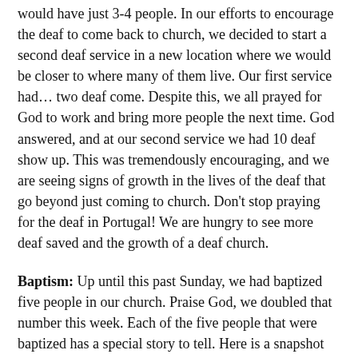would have just 3-4 people. In our efforts to encourage the deaf to come back to church, we decided to start a second deaf service in a new location where we would be closer to where many of them live. Our first service had… two deaf come. Despite this, we all prayed for God to work and bring more people the next time. God answered, and at our second service we had 10 deaf show up. This was tremendously encouraging, and we are seeing signs of growth in the lives of the deaf that go beyond just coming to church. Don't stop praying for the deaf in Portugal! We are hungry to see more deaf saved and the growth of a deaf church.
Baptism: Up until this past Sunday, we had baptized five people in our church. Praise God, we doubled that number this week. Each of the five people that were baptized has a special story to tell. Here is a snapshot testimony of each one:
Helena is a quiet and serious girl whose parents are Brazilian missionaries here in Portugal. Thus, she grew up hearing the